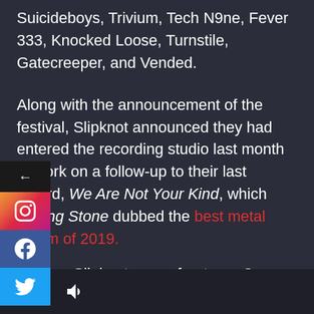Suicideboys, Trivium, Tech N9ne, Fever 333, Knocked Loose, Turnstile, Gatecreeper, and Vended.
Along with the announcement of the festival, Slipknot announced they had entered the recording studio last month to work on a follow-up to their last record, We Are Not Your Kind, which Rolling Stone dubbed the best metal album of 2019.
In other Slipknot news, frontman Corey Taylor